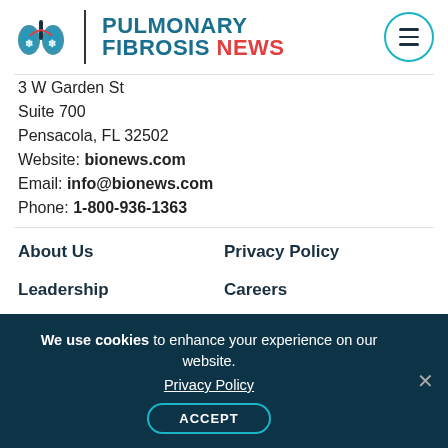[Figure (logo): Pulmonary Fibrosis News logo with lung icon and brand name]
3 W Garden St
Suite 700
Pensacola, FL 32502
Website: bionews.com
Email: info@bionews.com
Phone: 1-800-936-1363
About Us
Privacy Policy
Leadership
Careers
Our Culture
Contact Us
We use cookies to enhance your experience on our website. Privacy Policy ACCEPT